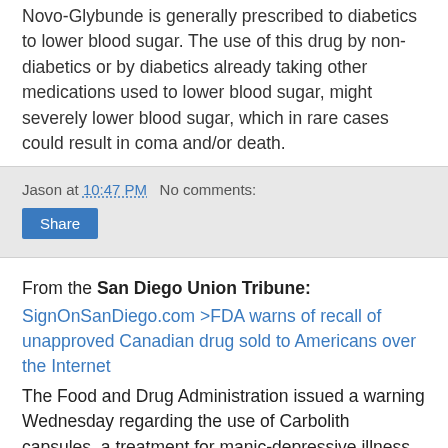Novo-Glybunde is generally prescribed to diabetics to lower blood sugar. The use of this drug by non-diabetics or by diabetics already taking other medications used to lower blood sugar, might severely lower blood sugar, which in rare cases could result in coma and/or death.
Jason at 10:47 PM   No comments:
Share
From the San Diego Union Tribune: SignOnSanDiego.com >FDA warns of recall of unapproved Canadian drug sold to Americans over the Internet The Food and Drug Administration issued a warning Wednesday regarding the use of Carbolith capsules, a treatment for manic-depressive illness that is distributed by a Canadian company.
The drug is not approved by the FDA, but Americans could purchase it on the Internet.